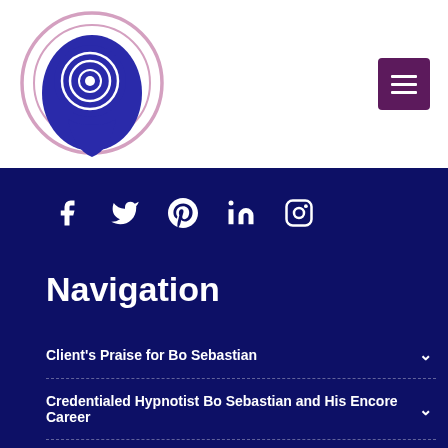[Figure (logo): Circular spiral logo with pink outer ring and dark blue inner spiral design on white background]
[Figure (other): Dark purple hamburger menu button with three white horizontal lines]
[Figure (other): Social media icons row: Facebook, Twitter, Pinterest, LinkedIn, Instagram — white icons on dark navy background]
Navigation
Client's Praise for Bo Sebastian
Credentialed Hypnotist Bo Sebastian and His Encore Career
Interesting Facts: Bo's Blog